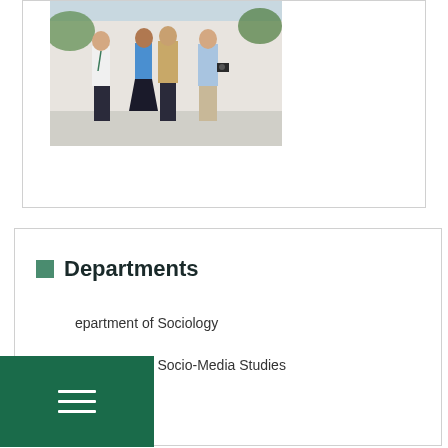[Figure (photo): Group of young people walking together outdoors, wearing casual clothes, one carrying a camera and another holding notebooks, with greenery in background.]
Departments
Department of Sociology
Department of Socio-Media Studies